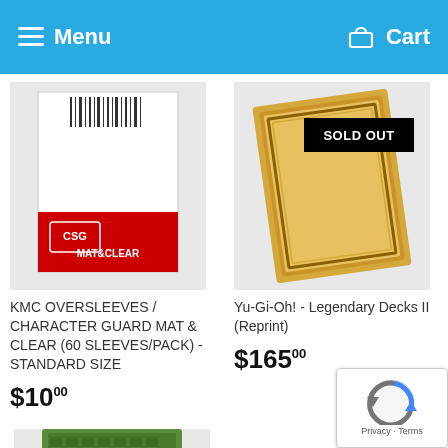Menu  Cart
[Figure (photo): KMC Oversleeves Character Guard Mat & Clear product package photo]
KMC OVERSLEEVES / CHARACTER GUARD MAT & CLEAR (60 SLEEVES/PACK) - STANDARD SIZE
$10.00
[Figure (photo): Yu-Gi-Oh! Legendary Decks II (Reprint) product photo with SOLD OUT badge]
Yu-Gi-Oh! - Legendary Decks II (Reprint)
$165.00
[Figure (photo): Dragon product image partially visible at bottom left]
[Figure (other): reCAPTCHA badge with Privacy and Terms links]